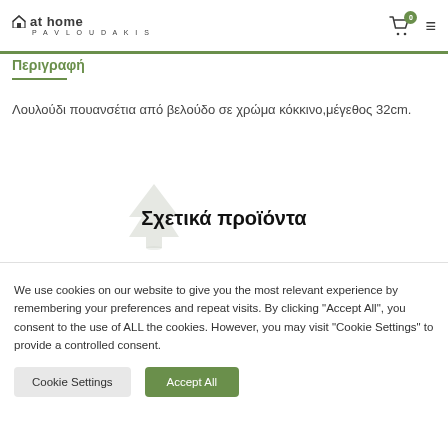at home PAVLOUDAKIS
Περιγραφή
Λουλούδι πουανσέτια από βελούδο σε χρώμα κόκκινο,μέγεθος 32cm.
Σχετικά προϊόντα
[Figure (illustration): Christmas tree illustration watermark behind Σχετικά προϊόντα heading]
We use cookies on our website to give you the most relevant experience by remembering your preferences and repeat visits. By clicking "Accept All", you consent to the use of ALL the cookies. However, you may visit "Cookie Settings" to provide a controlled consent.